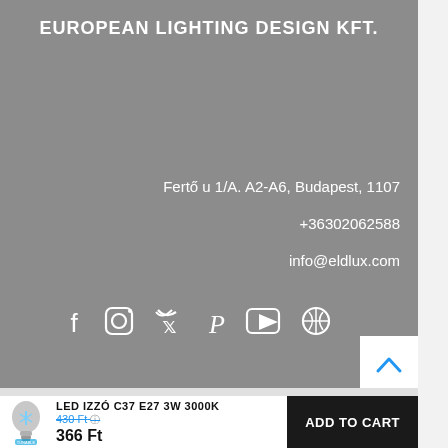EUROPEAN LIGHTING DESIGN KFT.
Fertő u 1/A. A2-A6, Budapest, 1107
+36302062588
info@eldlux.com
[Figure (infographic): Social media icons: Facebook, Instagram, Twitter, Pinterest, YouTube, and one more icon, displayed in white on grey background]
LED IZZÓ C37 E27 3W 3000K
430 Ft
366 Ft
ADD TO CART